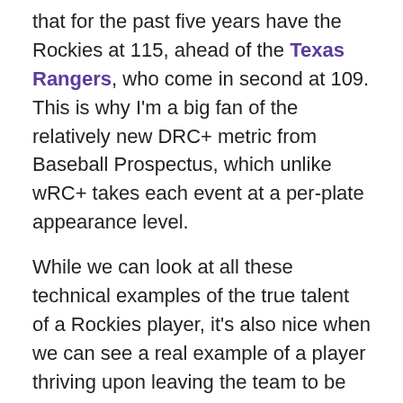that for the past five years have the Rockies at 115, ahead of the Texas Rangers, who come in second at 109. This is why I'm a big fan of the relatively new DRC+ metric from Baseball Prospectus, which unlike wRC+ takes each event at a per-plate appearance level.
While we can look at all these technical examples of the true talent of a Rockies player, it's also nice when we can see a real example of a player thriving upon leaving the team to be sure. (Un)fortunately, this season has given us one of the cruelest examples of a player having post-Rockies success.
DJ LeMahieu signed on with the New York Yankees this offseason and entering Friday's action has hit .329/.377/.518 with career highs in home runs (25) and